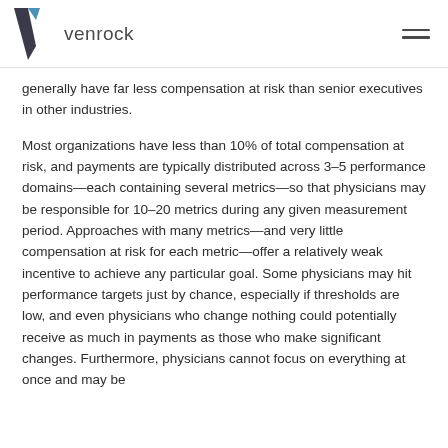venrock
generally have far less compensation at risk than senior executives in other industries.
Most organizations have less than 10% of total compensation at risk, and payments are typically distributed across 3–5 performance domains—each containing several metrics—so that physicians may be responsible for 10–20 metrics during any given measurement period. Approaches with many metrics—and very little compensation at risk for each metric—offer a relatively weak incentive to achieve any particular goal. Some physicians may hit performance targets just by chance, especially if thresholds are low, and even physicians who change nothing could potentially receive as much in payments as those who make significant changes. Furthermore, physicians cannot focus on everything at once and may be